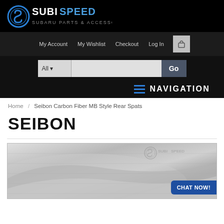[Figure (logo): Subispeed logo with blue circular S emblem and SUBISPEED text in metallic style on black background]
My Account   My Wishlist   Checkout   Log In
All  [search box]  Go
NAVIGATION
Home / Seibon Carbon Fiber MB Style Rear Spats
SEIBON
[Figure (photo): Product photo of Seibon carbon fiber rear spats, showing close-up of carbon fiber texture in silver/gray tones with Subispeed watermark logo in upper right corner. CHAT NOW! button in blue in lower right.]